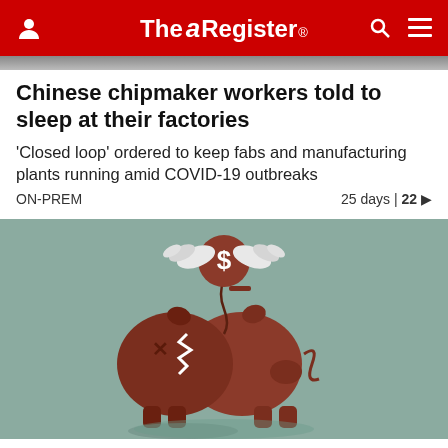The Register
Chinese chipmaker workers told to sleep at their factories
'Closed loop' ordered to keep fabs and manufacturing plants running amid COVID-19 outbreaks
ON-PREM   25 days | 22
[Figure (illustration): Illustration of a broken piggy bank with a dollar coin with wings flying away above it, on a teal/muted green background]